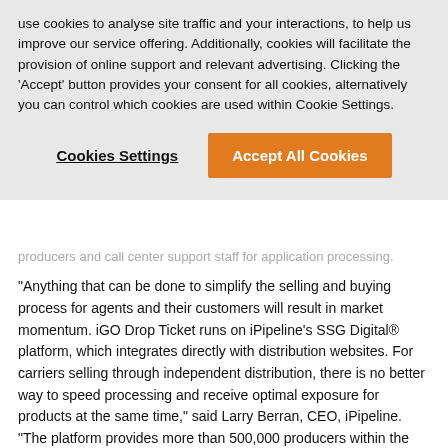use cookies to analyse site traffic and your interactions, to help us improve our service offering. Additionally, cookies will facilitate the provision of online support and relevant advertising. Clicking the 'Accept' button provides your consent for all cookies, alternatively you can control which cookies are used within Cookie Settings.
Cookies Settings | Accept All Cookies
producers and call center support staff for application processing.
"Anything that can be done to simplify the selling and buying process for agents and their customers will result in market momentum. iGO Drop Ticket runs on iPipeline's SSG Digital® platform, which integrates directly with distribution websites. For carriers selling through independent distribution, there is no better way to speed processing and receive optimal exposure for products at the same time," said Larry Berran, CEO, iPipeline. "The platform provides more than 500,000 producers within the largest insurance carriers, distributors, banks, and broker-dealers with the ability to automate the processing of insurance. We are pleased to provide Cincinnati Life with this digital agent tool and level of product exposure. Most importantly, we're getting families insured faster."